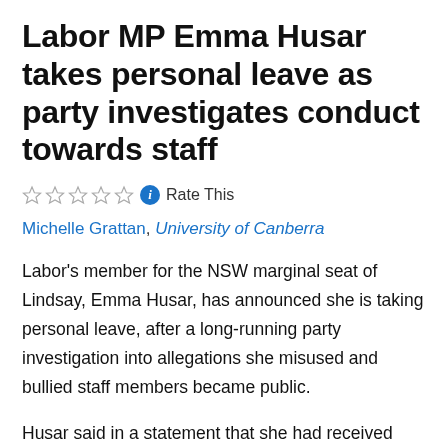Labor MP Emma Husar takes personal leave as party investigates conduct towards staff
☆☆☆☆☆ ℹ Rate This
Michelle Grattan, University of Canberra
Labor's member for the NSW marginal seat of Lindsay, Emma Husar, has announced she is taking personal leave, after a long-running party investigation into allegations she misused and bullied staff members became public.
Husar said in a statement that she had received threats of violence.